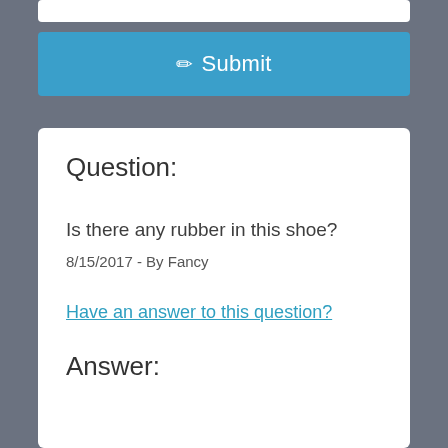[Figure (screenshot): White input text field at top]
✏ Submit
Question:
Is there any rubber in this shoe?
8/15/2017 - By Fancy
Have an answer to this question?
Answer: